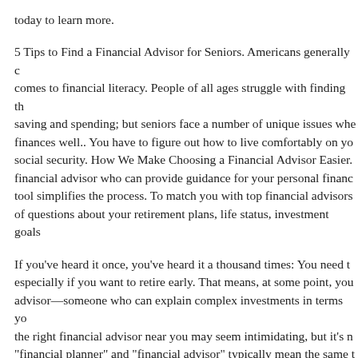today to learn more.
5 Tips to Find a Financial Advisor for Seniors. Americans generally come to financial literacy. People of all ages struggle with finding the balance between saving and spending; but seniors face a number of unique issues when managing finances well.. You have to figure out how to live comfortably on your social security. How We Make Choosing a Financial Advisor Easier. Finding a financial advisor who can provide guidance for your personal finances... our tool simplifies the process. To match you with top financial advisors we ask a series of questions about your retirement plans, life status, investment goals...
If you've heard it once, you've heard it a thousand times: You need to save money, especially if you want to retire early. That means, at some point, you'll need a financial advisor—someone who can explain complex investments in terms you understand. Finding the right financial advisor near you may seem intimidating, but it's not so bad. The terms "financial planner" and "financial advisor" typically mean the same thing, but not all financial planners or financial advisors are alike. The level of education, credentials and experience that a professional has will make a big difference in the quality of the...
One of the top financial advisor...